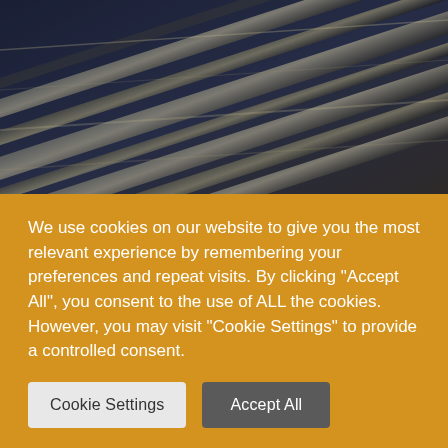[Figure (photo): Close-up photo of metallic tubes or rods with dark blue-gray tones, slightly blurred, arranged diagonally]
Load More...
Follow on Instagram
Tags
3D-Foxcalls  3d Fox Call  3d Fox Caller  3d Printed Fox Call BackPack  BestFoxCall  Black  Brightest LED Torch  Distress Call
We use cookies on our website to give you the most relevant experience by remembering your preferences and repeat visits. By clicking "Accept All", you consent to the use of ALL the cookies. However, you may visit "Cookie Settings" to provide a controlled consent.
Cookie Settings
Accept All